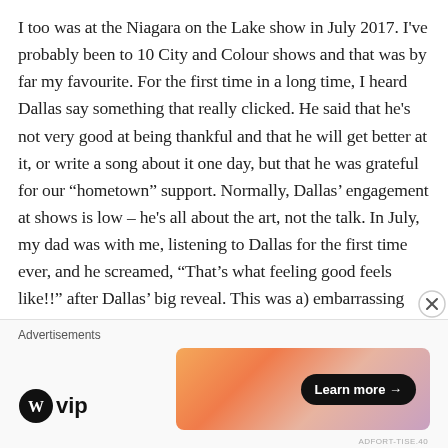I too was at the Niagara on the Lake show in July 2017. I've probably been to 10 City and Colour shows and that was by far my favourite. For the first time in a long time, I heard Dallas say something that really clicked. He said that he's not very good at being thankful and that he will get better at it, or write a song about it one day, but that he was grateful for our “hometown” support. Normally, Dallas’ engagement at shows is low – he's all about the art, not the talk. In July, my dad was with me, listening to Dallas for the first time ever, and he screamed, “That's what feeling good feels like!!” after Dallas’ big reveal. This was a) embarrassing because like you, I know Dallas isn’t a fan of certain extrovert activities like public interaction, and it
[Figure (other): Advertisement bar with WordPress VIP logo on the left and a colorful gradient banner ad with 'Learn more' button on the right. Close button (X) in circle at top right of ad area.]